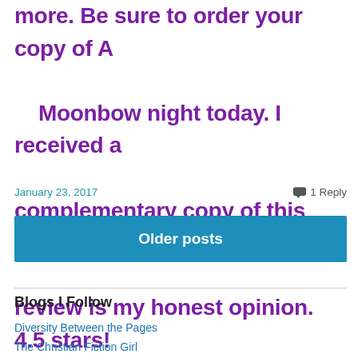more. Be sure to order your copy of A Moonbow night today. I received a complementary copy of this book. This review is my honest opinion. 4.5 stars!
January 23, 2017
1 Reply
Older posts
Blogs I Follow
Diversity Between the Pages
The Christian Fiction Girl